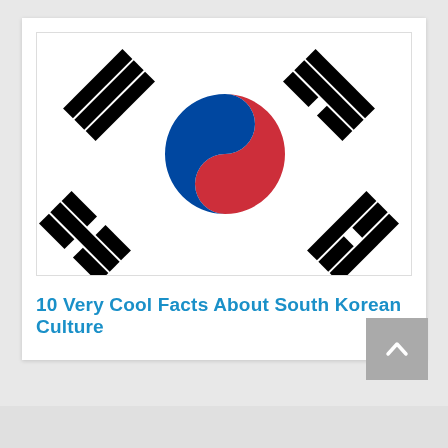[Figure (illustration): South Korean flag (Taegukgi) showing white background with red-blue taeguk (yin-yang) symbol in center and four black trigrams in corners]
10 Very Cool Facts About South Korean Culture